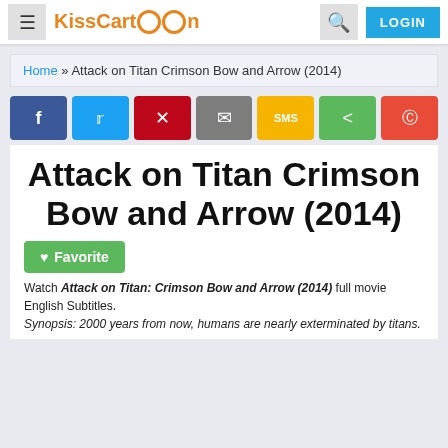KissCartoon — hamburger menu, search, LOGIN
Home » Attack on Titan Crimson Bow and Arrow (2014)
[Figure (other): Social share buttons: Facebook, Twitter, Pinterest, Email, SMS, Share, Reddit]
Attack on Titan Crimson Bow and Arrow (2014)
Favorite
Watch Attack on Titan: Crimson Bow and Arrow (2014) full movie English Subtitles. Synopsis: 2000 years from now, humans are nearly exterminated by titans.